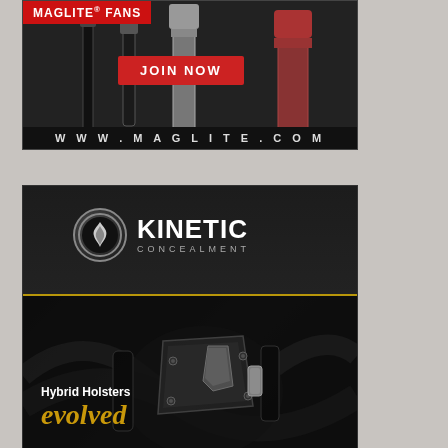[Figure (illustration): Maglite Fans advertisement showing multiple flashlights on dark background with red JOIN NOW button and www.maglite.com website URL at bottom]
[Figure (illustration): Kinetic Concealment advertisement showing logo with flame emblem, dark holster product image, and tagline 'Hybrid Holsters evolved' with gold text]